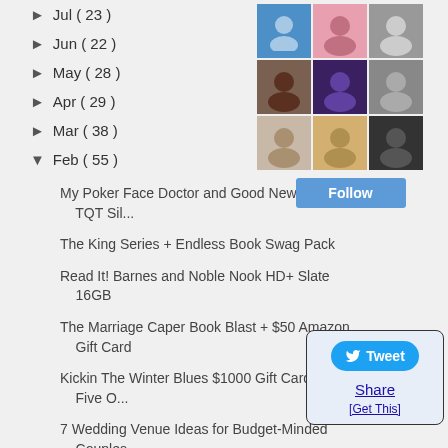► Jul ( 23 )
► Jun ( 22 )
► May ( 28 )
► Apr ( 29 )
► Mar ( 38 )
▼ Feb ( 55 )
My Poker Face Doctor and Good News - Aloha TQT Sil...
The King Series + Endless Book Swag Pack
Read It! Barnes and Noble Nook HD+ Slate 16GB
The Marriage Caper Book Blast + $50 Amazon Gift Card
Kickin The Winter Blues $1000 Gift Card For Five O...
7 Wedding Venue Ideas for Budget-Minded Couples
[Figure (other): Followers grid with 9 avatar thumbnails and a Follow button]
[Figure (other): Twitter Tweet button widget with Share link and Get This link]